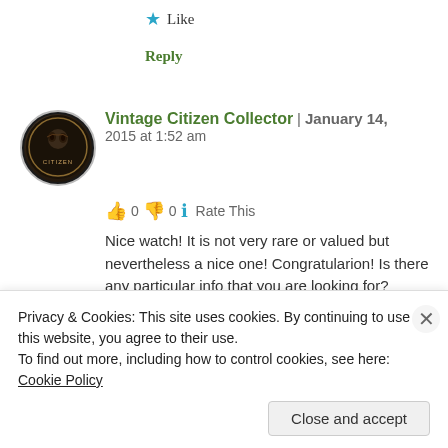★ Like
Reply
Vintage Citizen Collector | January 14, 2015 at 1:52 am
👍 0 👎 0 ℹ Rate This
Nice watch! It is not very rare or valued but nevertheless a nice one! Congratularion! Is there any particular info that you are looking for?
★ Like
Privacy & Cookies: This site uses cookies. By continuing to use this website, you agree to their use.
To find out more, including how to control cookies, see here: Cookie Policy
Close and accept